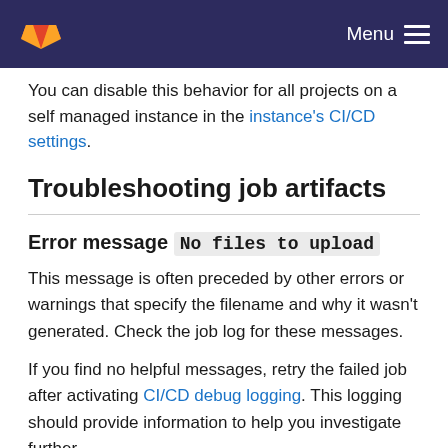Menu
You can disable this behavior for all projects on a self managed instance in the instance's CI/CD settings.
Troubleshooting job artifacts
Error message No files to upload
This message is often preceded by other errors or warnings that specify the filename and why it wasn't generated. Check the job log for these messages.
If you find no helpful messages, retry the failed job after activating CI/CD debug logging. This logging should provide information to help you investigate further.
Error message Missing /usr/bin/gitlab-runner-helper. Uploading artifacts is disabled